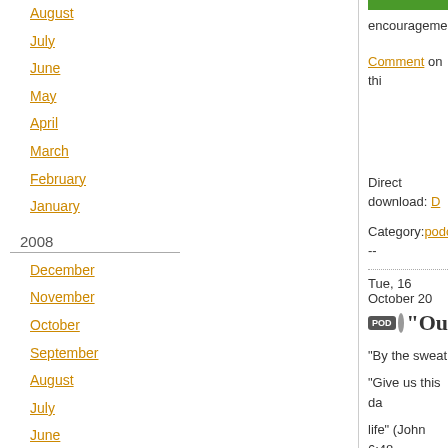August
July
June
May
April
March
February
January
2008
December
November
October
September
August
July
June
May
April
March
February
encouragement
Comment on thi
Direct download: D
Category: podcast --
Tue, 16 October 20
[Figure (other): Podcast logo with POD icon and text starting with 'Ou']
"By the sweat
"Give us this da
life" (John 6:48
Listen to this m
Read this messa
Subscribe to thi